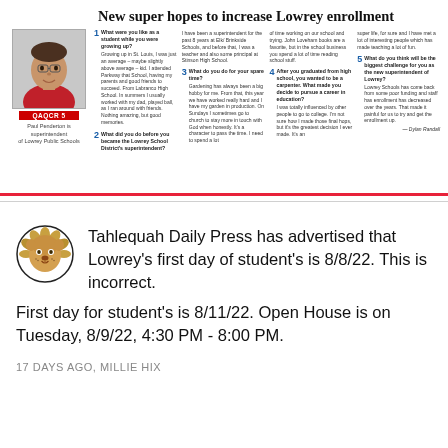[Figure (screenshot): Newspaper article clipping titled 'New super hopes to increase Lowrey enrollment' with a photo of Paul Penderton and 5 Q&A columns]
Tahlequah Daily Press has advertised that Lowrey's first day of student's is 8/8/22. This is incorrect. First day for student's is 8/11/22. Open House is on Tuesday, 8/9/22, 4:30 PM - 8:00 PM.
17 DAYS AGO, MILLIE HIX